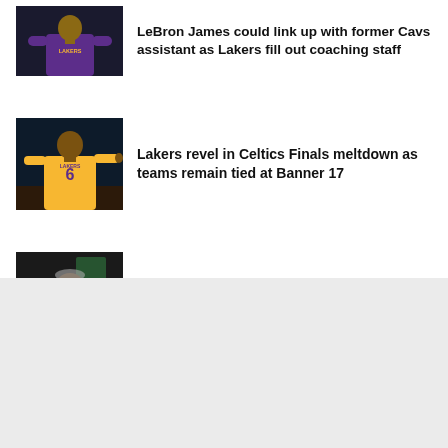[Figure (photo): LeBron James in purple Lakers jersey]
LeBron James could link up with former Cavs assistant as Lakers fill out coaching staff
[Figure (photo): LeBron James in yellow Lakers jersey number 6 pointing]
Lakers revel in Celtics Finals meltdown as teams remain tied at Banner 17
[Figure (photo): Bill Russell older man in white suit at basketball event]
Celtics legend Bill Russell isn't giving up on hope for Banner 18 in 2023